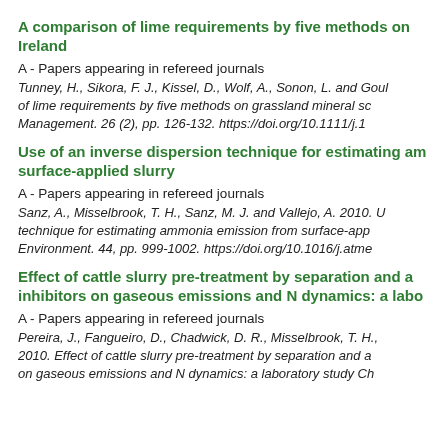A comparison of lime requirements by five methods on Ireland
A - Papers appearing in refereed journals
Tunney, H., Sikora, F. J., Kissel, D., Wolf, A., Sonon, L. and Gould of lime requirements by five methods on grassland mineral so Management. 26 (2), pp. 126-132. https://doi.org/10.1111/j.1
Use of an inverse dispersion technique for estimating ammonia from surface-applied slurry
A - Papers appearing in refereed journals
Sanz, A., Misselbrook, T. H., Sanz, M. J. and Vallejo, A. 2010. U technique for estimating ammonia emission from surface-app Environment. 44, pp. 999-1002. https://doi.org/10.1016/j.atme
Effect of cattle slurry pre-treatment by separation and inhibitors on gaseous emissions and N dynamics: a labo
A - Papers appearing in refereed journals
Pereira, J., Fangueiro, D., Chadwick, D. R., Misselbrook, T. H., 2010. Effect of cattle slurry pre-treatment by separation and on gaseous emissions and N dynamics: a laboratory study Ch